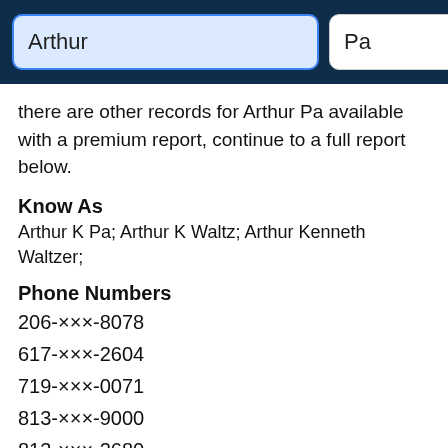[Figure (screenshot): Search bar header with two text input fields (Arthur, Pa) and a green search button on a dark navy background]
there are other records for Arthur Pa available with a premium report, continue to a full report below.
Know As
Arthur K Pa; Arthur K Waltz; Arthur Kenneth Waltzer;
Phone Numbers
206-xxx-8078
617-xxx-2604
719-xxx-0071
813-xxx-9000
813-xxx-2680
Address History
12901 Bruce B Downs Boulevard # Gme, Tampa, Florida, United States
13801 Bruce B Downs Boulevard, Tampa